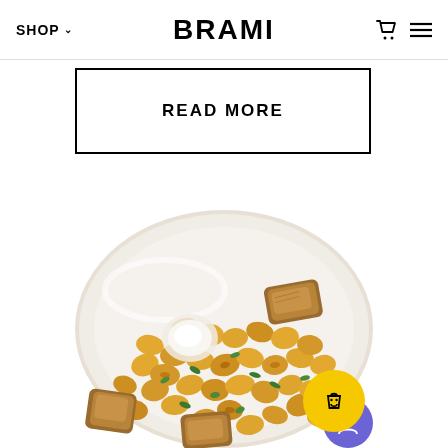SHOP  BRAMI
READ MORE
[Figure (photo): A white bowl filled with golden lupini beans, toasted bread croutons, herbs, and a poached egg on top — a salad dish photographed from above.]